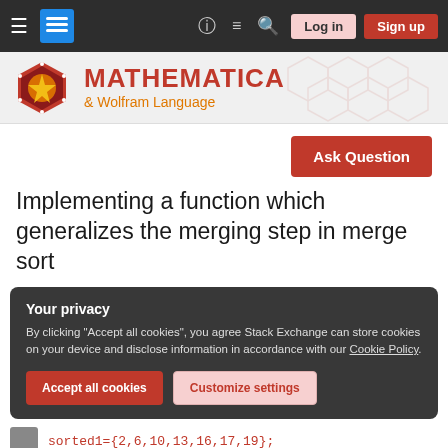Mathematica & Wolfram Language – Stack Exchange navigation bar
[Figure (logo): Mathematica Stack Exchange logo with brand header showing Mathematica & Wolfram Language]
[Figure (other): Ask Question button (red)]
Implementing a function which generalizes the merging step in merge sort
Your privacy
By clicking "Accept all cookies", you agree Stack Exchange can store cookies on your device and disclose information in accordance with our Cookie Policy.
Accept all cookies   Customize settings
sorted1={2,6,10,13,16,17,19};